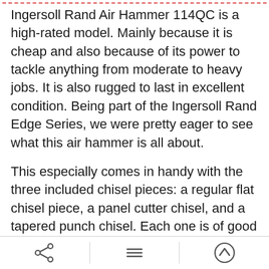Ingersoll Rand Air Hammer 114QC is a high-rated model. Mainly because it is cheap and also because of its power to tackle anything from moderate to heavy jobs. It is also rugged to last in excellent condition. Being part of the Ingersoll Rand Edge Series, we were pretty eager to see what this air hammer is all about.
This especially comes in handy with the three included chisel pieces: a regular flat chisel piece, a panel cutter chisel, and a tapered punch chisel. Each one is of good alloy quality and is very easy to insert or remove. Ingersoll installed a retainer system that makes switching chisels fast and easy, while also making the individual pieces stick in tight and
[share icon] [menu icon] [up arrow icon]